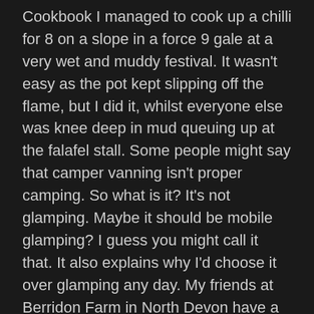Cookbook I managed to cook up a chilli for 8 on a slope in a force 9 gale at a very wet and muddy festival. It wasn't easy as the pot kept slipping off the flame, but I did it, whilst everyone else was knee deep in mud queuing up at the falafel stall. Some people might say that camper vanning isn't proper camping. So what is it? It's not glamping. Maybe it should be mobile glamping? I guess you might call it that. It also explains why I'd choose it over glamping any day. My friends at Berridon Farm in North Devon have a fantastic set up with amazing tents, brilliant facilities and lovely, lovely views (I recommend in case you hadn't noticed) with cute animals and a little shop. If you want glamping, this is it. But you can't move if the weather turns or you fancy stepping out somewhere different every morning. In a camper van you can. Then there's the driving. People stop and wave. People smile when you go past. There's a sense of community. VW campers wave at each other on the road. You'd never get that in your late saloon with a top box full of wet tent would you? Camper vans make the whole experience fun. And if you break